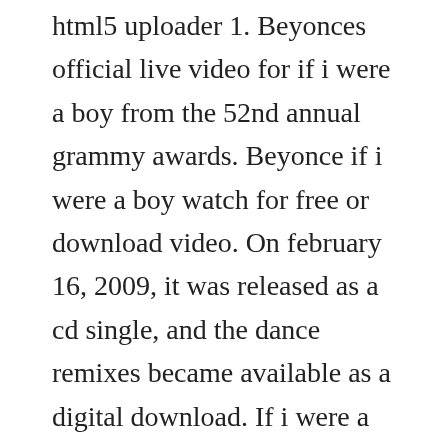html5 uploader 1. Beyonces official live video for if i were a boy from the 52nd annual grammy awards. Beyonce if i were a boy watch for free or download video. On february 16, 2009, it was released as a cd single, and the dance remixes became available as a digital download. If i were a boy even just for a day id roll out of bed in the morning and throw on what i wanted and go drink beer with the guys and chase after girls id kick it with who i wanted and id never get confronted for it cause theyd stick up for me if i were a boy i think i could understand how it